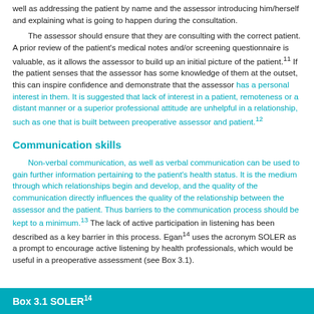well as addressing the patient by name and the assessor introducing him/herself and explaining what is going to happen during the consultation.
The assessor should ensure that they are consulting with the correct patient. A prior review of the patient's medical notes and/or screening questionnaire is valuable, as it allows the assessor to build up an initial picture of the patient.11 If the patient senses that the assessor has some knowledge of them at the outset, this can inspire confidence and demonstrate that the assessor has a personal interest in them. It is suggested that lack of interest in a patient, remoteness or a distant manner or a superior professional attitude are unhelpful in a relationship, such as one that is built between preoperative assessor and patient.12
Communication skills
Non-verbal communication, as well as verbal communication can be used to gain further information pertaining to the patient's health status. It is the medium through which relationships begin and develop, and the quality of the communication directly influences the quality of the relationship between the assessor and the patient. Thus barriers to the communication process should be kept to a minimum.13 The lack of active participation in listening has been described as a key barrier in this process. Egan14 uses the acronym SOLER as a prompt to encourage active listening by health professionals, which would be useful in a preoperative assessment (see Box 3.1).
Box 3.1 SOLER14